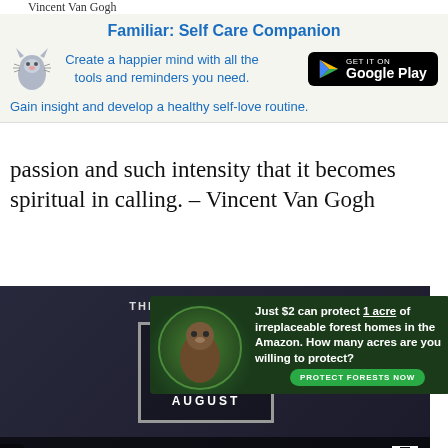Vincent Van Gogh
[Figure (screenshot): Familiar: Self Care Companion app advertisement banner with cat icon, Google Play button, and blue text]
passion and such intensity that it becomes spiritual in calling. – Vincent Van Gogh
Love is eternal – the aspect may change, but not the essence. There is more to see in a person before you than there is in an unlit lamp. The lamp was there, but now it is…
[Figure (screenshot): This Day in History video overlay showing August 10 with a play button and video controls]
[Figure (screenshot): Amazon forest protection advertisement: Just $2 can protect 1 acre of irreplaceable forest homes in the Amazon. How many acres are you willing to protect? PROTECT FORESTS NOW]